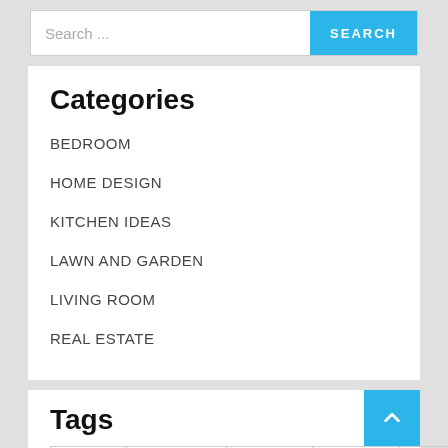Search ...
Categories
BEDROOM
HOME DESIGN
KITCHEN IDEAS
LAWN AND GARDEN
LIVING ROOM
REAL ESTATE
Tags
BEACH
BEDROOM
BUDGET
COUNTY
DALLAS